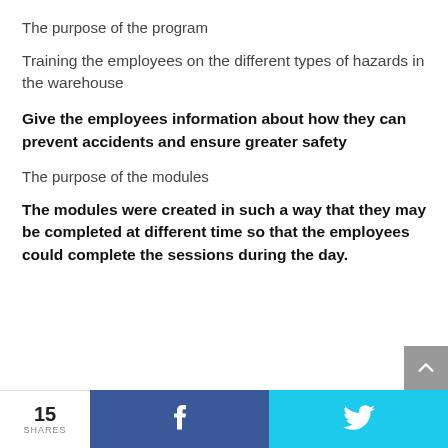The purpose of the program
Training the employees on the different types of hazards in the warehouse
Give the employees information about how they can prevent accidents and ensure greater safety
The purpose of the modules
The modules were created in such a way that they may be completed at different time so that the employees could complete the sessions during the day.
15 SHARES  f  (Twitter bird)